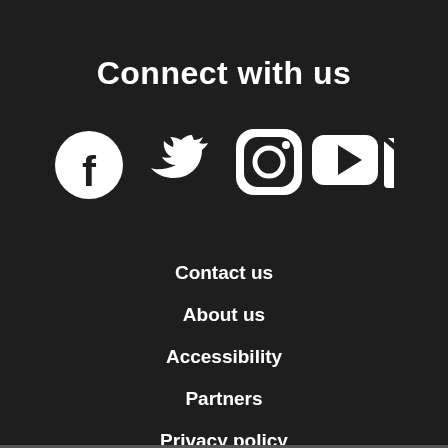Connect with us
[Figure (illustration): Five social media icons in white on dark background: Facebook, Twitter, Instagram, YouTube, Email]
Contact us
About us
Accessibility
Partners
Privacy policy
Disclaimer